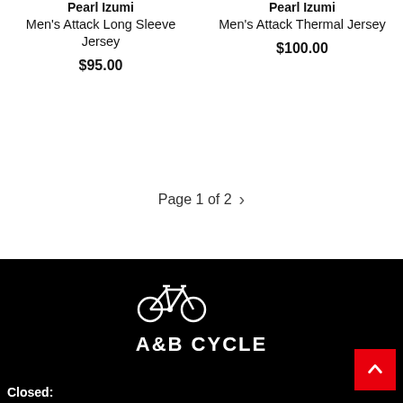Pearl Izumi
Men's Attack Long Sleeve Jersey
$95.00
Pearl Izumi
Men's Attack Thermal Jersey
$100.00
Page 1 of 2 >
[Figure (logo): A&B Cycle bicycle shop logo with white bicycle icon and text 'A&B CYCLE' on black background]
Closed: